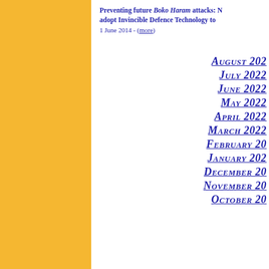[Figure (other): Gold/yellow vertical sidebar bar on the left side of the page]
Preventing future Boko Haram attacks: N adopt Invincible Defence Technology to
1 June 2014 - (more)
August 2022
July 2022
June 2022
May 2022
April 2022
March 2022
February 2022
January 2022
December 20
November 20
October 20